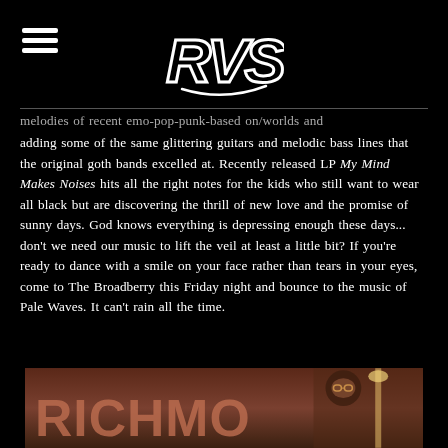RVS logo and navigation header
...melodies of recent emo-pop-punk-based on/worlds and adding some of the same glittering guitars and melodic bass lines that the original goth bands excelled at. Recently released LP My Mind Makes Noises hits all the right notes for the kids who still want to wear all black but are discovering the thrill of new love and the promise of sunny days. God knows everything is depressing enough these days... don't we need our music to lift the veil at least a little bit? If you're ready to dance with a smile on your face rather than tears in your eyes, come to The Broadberry this Friday night and bounce to the music of Pale Waves. It can't rain all the time.
[Figure (photo): Bottom portion of a photo showing people in front of a Richmond sign with warm reddish-brown tones]